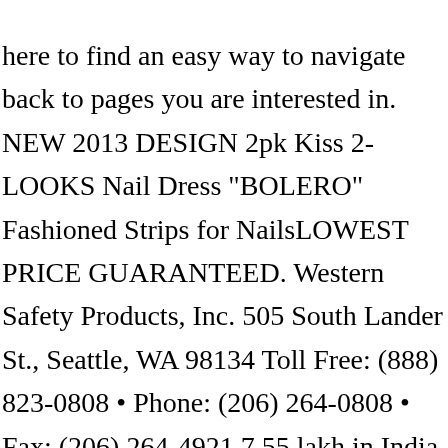here to find an easy way to navigate back to pages you are interested in. NEW 2013 DESIGN 2pk Kiss 2-LOOKS Nail Dress "BOLERO" Fashioned Strips for NailsLOWEST PRICE GUARANTEED. Western Safety Products, Inc. 505 South Lander St., Seattle, WA 98134 Toll Free: (888) 823-0808 • Phone: (206) 264-0808 • Fax: (206) 264-4921 7.55 lakh in India. Price . Clean air compressor—double head, oil-less, dual intake filters . Top subscription boxes – right to your door, © 1996-2020, Amazon.com, Inc. or its